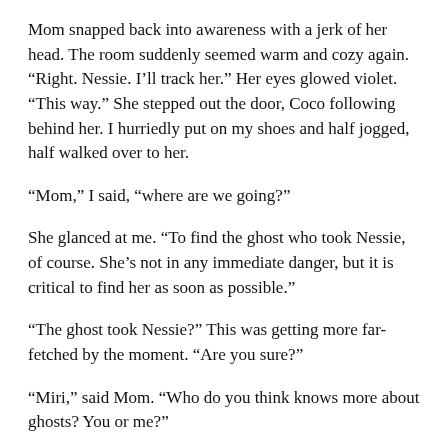Mom snapped back into awareness with a jerk of her head. The room suddenly seemed warm and cozy again. “Right. Nessie. I’ll track her.” Her eyes glowed violet. “This way.” She stepped out the door, Coco following behind her. I hurriedly put on my shoes and half jogged, half walked over to her.
“Mom,” I said, “where are we going?”
She glanced at me. “To find the ghost who took Nessie, of course. She’s not in any immediate danger, but it is critical to find her as soon as possible.”
“The ghost took Nessie?” This was getting more far-fetched by the moment. “Are you sure?”
“Miri,” said Mom. “Who do you think knows more about ghosts? You or me?”
“Well… you, I suppose,” I grumbled. Then, in a sudden outburst, I said, “But maybe if you had just taught me to be a